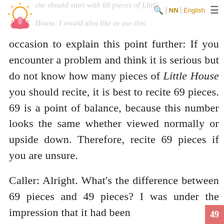she should start with 69 pieces of Little House. I would also like to use this | NN | English
occasion to explain this point further: If you encounter a problem and think it is serious but do not know how many pieces of Little House you should recite, it is best to recite 69 pieces. 69 is a point of balance, because this number looks the same whether viewed normally or upside down. Therefore, recite 69 pieces if you are unsure.
Caller: Alright. What's the difference between 69 pieces and 49 pieces? I was under the impression that it had been 49…